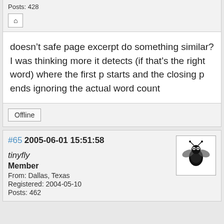Posts: 428
[Figure (other): Home icon button]
doesn’t safe page excerpt do something similar? I was thinking more it detects (if that’s the right word) where the first p starts and the closing p ends ignoring the actual word count
Offline
#65  2005-06-01 15:51:58
[Figure (illustration): User avatar showing a stylized insect/fly logo in black and white]
tinyfly
Member
From: Dallas, Texas
Registered: 2004-05-10
Posts: 462